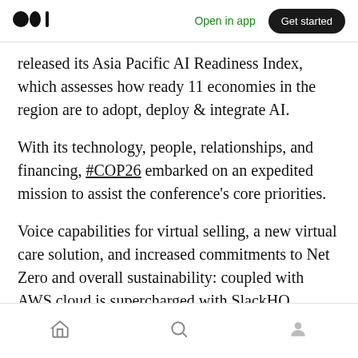Medium logo | Open in app | Get started
released its Asia Pacific AI Readiness Index, which assesses how ready 11 economies in the region are to adopt, deploy & integrate AI.
With its technology, people, relationships, and financing, #COP26 embarked on an expedited mission to assist the conference's core priorities.
Voice capabilities for virtual selling, a new virtual care solution, and increased commitments to Net Zero and overall sustainability: coupled with AWS cloud is supercharged with SlackHQ
Home | Search | Profile